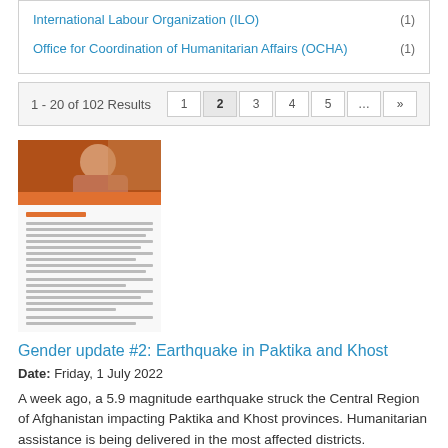International Labour Organization (ILO) (1)
Office for Coordination of Humanitarian Affairs (OCHA) (1)
1 - 20 of 102 Results
Pagination: 1 2 3 4 5 ... >>
[Figure (photo): Thumbnail image of document cover showing a woman, with orange header area and text content below]
Gender update #2: Earthquake in Paktika and Khost
Date: Friday, 1 July 2022
A week ago, a 5.9 magnitude earthquake struck the Central Region of Afghanistan impacting Paktika and Khost provinces. Humanitarian assistance is being delivered in the most affected districts.